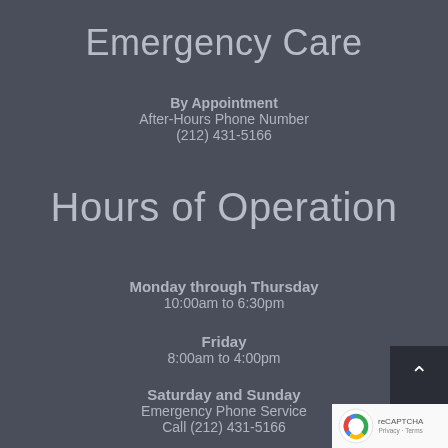Emergency Care
By Appointment
After-Hours Phone Number
(212) 431-5166
Hours of Operation
Monday through Thursday
10:00am to 6:30pm
Friday
8:00am to 4:00pm
Saturday and Sunday
Emergency Phone Service
Call (212) 431-5166